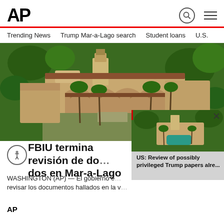AP
Trending News   Trump Mar-a-Lago search   Student loans   U.S.
[Figure (photo): Aerial view of Mar-a-Lago estate in Palm Beach, Florida, showing the main building with red-tiled roof, swimming pool, palm trees, and surrounding grounds.]
[Figure (photo): Smaller popup overlay showing another aerial view of Mar-a-Lago with text: US: Review of possibly privileged Trump papers alre...]
FBIU termina revisión de do…dos en Mar-a-Lago
WASHINGTON (AP) — El gobierno e… revisar los documentos hallados en la v…
AP